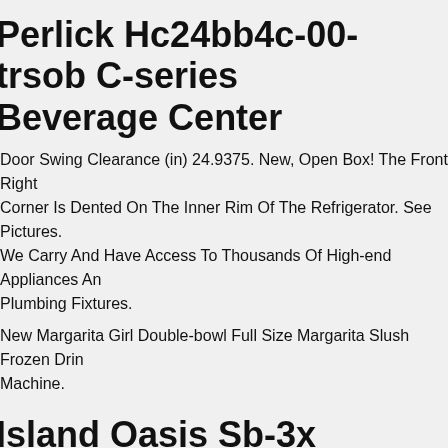Perlick Hc24bb4c-00-trsob C-series Beverage Center
Door Swing Clearance (in) 24.9375. New, Open Box! The Front Right Corner Is Dented On The Inner Rim Of The Refrigerator. See Pictures. We Carry And Have Access To Thousands Of High-end Appliances And Plumbing Fixtures.
New Margarita Girl Double-bowl Full Size Margarita Slush Frozen Drink Machine.
Island Oasis Sb-3x Machine W/onsite Service - Frozen Drink & Smoothie Ice Blender
Island Oasis Sb-3x Factory Refurbished Ice Auto-feed Frozen Drink & Smoothie Blender Machine. With The Push Of A Button You Can Make